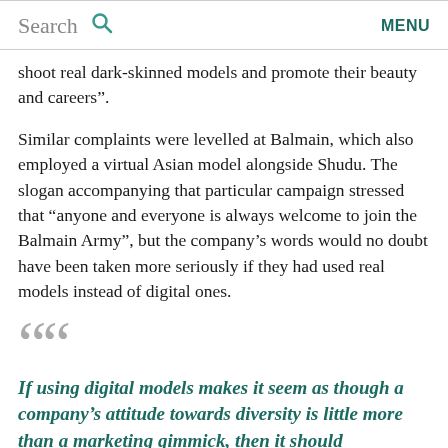Search   MENU
shoot real dark-skinned models and promote their beauty and careers”.
Similar complaints were levelled at Balmain, which also employed a virtual Asian model alongside Shudu. The slogan accompanying that particular campaign stressed that “anyone and everyone is always welcome to join the Balmain Army”, but the company’s words would no doubt have been taken more seriously if they had used real models instead of digital ones.
If using digital models makes it seem as though a company’s attitude towards diversity is little more than a marketing gimmick, then it should